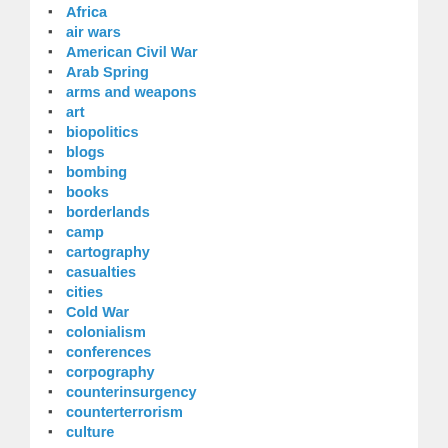Africa
air wars
American Civil War
Arab Spring
arms and weapons
art
biopolitics
blogs
bombing
books
borderlands
camp
cartography
casualties
cities
Cold War
colonialism
conferences
corpography
counterinsurgency
counterterrorism
culture